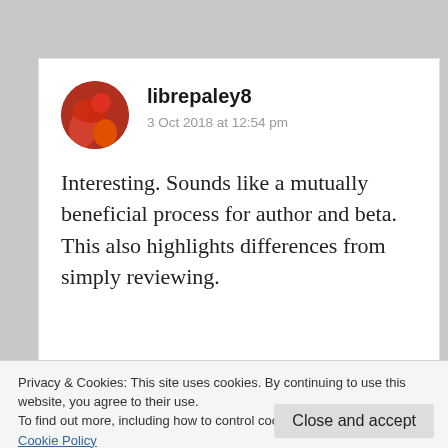[Figure (photo): Round avatar of user librepaley8, showing a red/orange colored image, circular crop]
librepaley8
3 Oct 2018 at 12:54 pm
Interesting. Sounds like a mutually beneficial process for author and beta. This also highlights differences from simply reviewing.
Privacy & Cookies: This site uses cookies. By continuing to use this website, you agree to their use.
To find out more, including how to control cookies, see here:
Cookie Policy
Close and accept
[Figure (photo): Round avatar of user Bryan Fagan, showing a person's face, circular crop]
Bryan Fagan